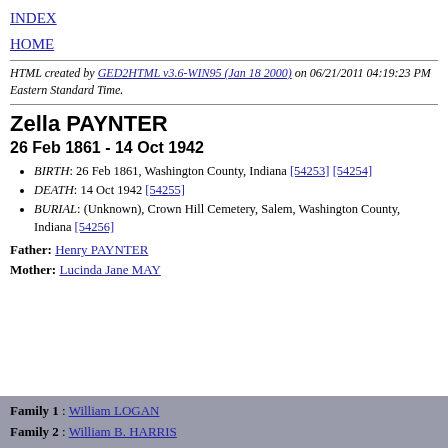INDEX
HOME
HTML created by GED2HTML v3.6-WIN95 (Jan 18 2000) on 06/21/2011 04:19:23 PM Eastern Standard Time.
Zella PAYNTER
26 Feb 1861 - 14 Oct 1942
BIRTH: 26 Feb 1861, Washington County, Indiana [54253] [54254]
DEATH: 14 Oct 1942 [54255]
BURIAL: (Unknown), Crown Hill Cemetery, Salem, Washington County, Indiana [54256]
Father: Henry PAYNTER
Mother: Lucinda Jane MAY
Family 1 : William LOGAN
Family 2 : William B. HARRIS